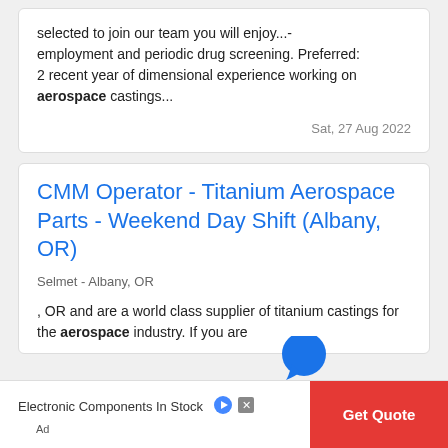selected to join our team you will enjoy...- employment and periodic drug screening. Preferred: 2 recent year of dimensional experience working on aerospace castings...
Sat, 27 Aug 2022
CMM Operator - Titanium Aerospace Parts - Weekend Day Shift (Albany, OR)
Selmet - Albany, OR
, OR and are a world class supplier of titanium castings for the aerospace industry. If you are
Electronic Components In Stock
Get Quote
Ad